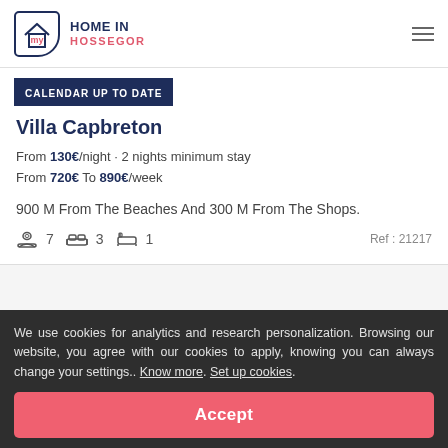HOME IN HOSSEGOR
CALENDAR UP TO DATE
Villa Capbreton
From 130€/night - 2 nights minimum stay
From 720€ To 890€/week
900 M From The Beaches And 300 M From The Shops.
7  3  1  Ref : 21217
We use cookies for analytics and research personalization. Browsing our website, you agree with our cookies to apply, knowing you can always change your settings.. Know more. Set up cookies.
Accept